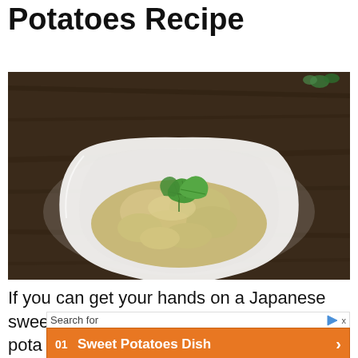Potatoes Recipe
[Figure (photo): A white square plate with a serving of mashed Japanese sweet potato garnished with a fresh mint leaf, on a dark wooden surface]
If you can get your hands on a Japanese sweet potato — that is, a sweeter style pota... lightly...
Search for